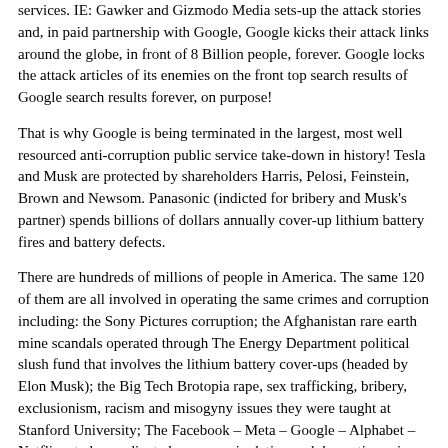services. IE: Gawker and Gizmodo Media sets-up the attack stories and, in paid partnership with Google, Google kicks their attack links around the globe, in front of 8 Billion people, forever. Google locks the attack articles of its enemies on the front top search results of Google search results forever, on purpose!
That is why Google is being terminated in the largest, most well resourced anti-corruption public service take-down in history! Tesla and Musk are protected by shareholders Harris, Pelosi, Feinstein, Brown and Newsom. Panasonic (indicted for bribery and Musk's partner) spends billions of dollars annually cover-up lithium battery fires and battery defects.
There are hundreds of millions of people in America. The same 120 of them are all involved in operating the same crimes and corruption including: the Sony Pictures corruption; the Afghanistan rare earth mine scandals operated through The Energy Department political slush fund that involves the lithium battery cover-ups (headed by Elon Musk); the Big Tech Brotopia rape, sex trafficking, bribery, exclusionism, racism and misogyny issues they were taught at Stanford University; The Facebook – Meta – Google – Alphabet – Netflix, et al, coordinated news manipulation and domestic spying that they engage in; the hiring of Fusion GPS – Black Cube – Gizmodo/Gawker assassins; the destruction of the housing market by their mass real estate manipulations; patent theft and industrial espionage; and the bribery of almost every